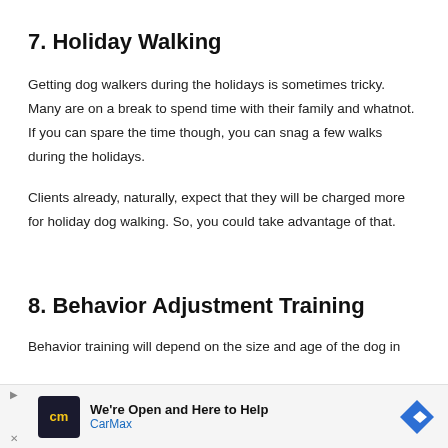7. Holiday Walking
Getting dog walkers during the holidays is sometimes tricky. Many are on a break to spend time with their family and whatnot. If you can spare the time though, you can snag a few walks during the holidays.
Clients already, naturally, expect that they will be charged more for holiday dog walking. So, you could take advantage of that.
8. Behavior Adjustment Training
Behavior training will depend on the size and age of the dog in
[Figure (infographic): CarMax advertisement banner: 'We're Open and Here to Help' with CarMax logo and navigation arrow icon]